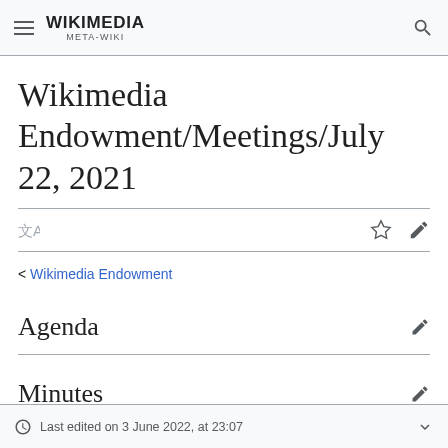WIKIMEDIA META-WIKI
Wikimedia Endowment/Meetings/July 22, 2021
< Wikimedia Endowment
Agenda
Minutes
Last edited on 3 June 2022, at 23:07